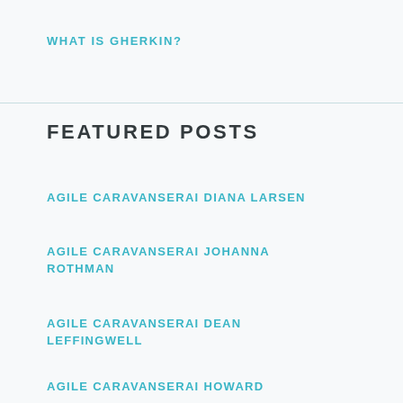WHAT IS GHERKIN?
FEATURED POSTS
AGILE CARAVANSERAI DIANA LARSEN
AGILE CARAVANSERAI JOHANNA ROTHMAN
AGILE CARAVANSERAI DEAN LEFFINGWELL
AGILE CARAVANSERAI HOWARD